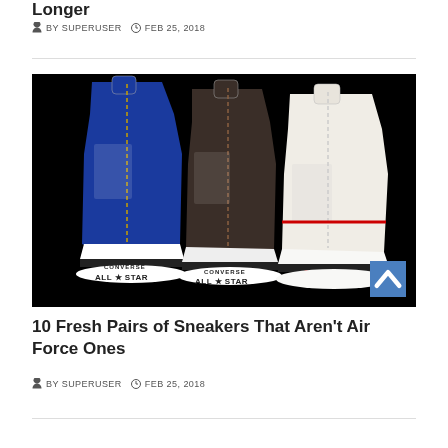Longer
BY SUPERUSER  FEB 25, 2018
[Figure (photo): Three Converse All Star Chuck Taylor high-top sneakers seen from the back — blue, dark brown, and white — on a black background, each showing the 'Converse All Star' logo on the white rubber sole]
10 Fresh Pairs of Sneakers That Aren't Air Force Ones
BY SUPERUSER  FEB 25, 2018